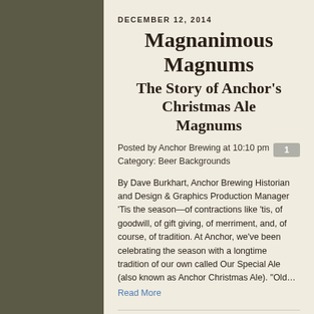DECEMBER 12, 2014
Magnanimous Magnums The Story of Anchor's Christmas Ale Magnums
Posted by Anchor Brewing at 10:10 pm
Category: Beer Backgrounds
By Dave Burkhart, Anchor Brewing Historian and Design & Graphics Production Manager 'Tis the season—of contractions like 'tis, of goodwill, of gift giving, of merriment, and, of course, of tradition. At Anchor, we've been celebrating the season with a longtime tradition of our own called Our Special Ale (also known as Anchor Christmas Ale). "Old... Read More
AUGUST 27, 2014